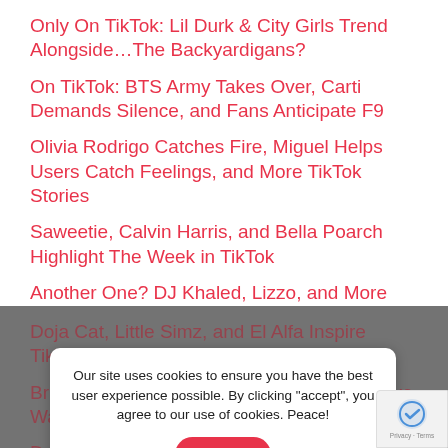Only On TikTok: Lil Durk & City Girls Trend Alongside…The Backyardigans?
On TikTok: BTS Army Takes Over, Carti Demands Silence, and Fans Anticipate F9
Olivia Rodrigo Catches Fire, Miguel Helps Users Catch Feelings, and More TikTok Stories
Saweetie, Calvin Harris, and Bella Poarch Highlight The Week in TikTok
Another One? DJ Khaled, Lizzo, and More Make the Week in TikTok
Doja Cat, Little Simz, and El Alfa Inspire TikTok Trends
Britney Spears, Chloe Bailey, and Diplo Make Waves on TikTok
Dua Lipa, Drake, and Bell Biv DeVoe Make Waves in TikTok
Our site uses cookies to ensure you have the best user experience possible. By clicking "accept", you agree to our use of cookies. Peace!